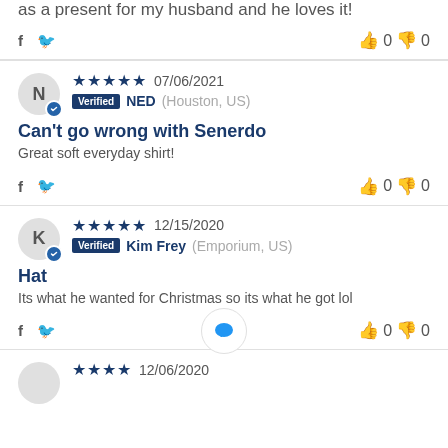as a present for my husband and he loves it!
👍 0 👎 0
★★★★★ 07/06/2021
Verified NED (Houston, US)
Can't go wrong with Senerdo
Great soft everyday shirt!
👍 0 👎 0
★★★★★ 12/15/2020
Verified Kim Frey (Emporium, US)
Hat
Its what he wanted for Christmas so its what he got lol
👍 0 👎 0
★★★★ 12/06/2020